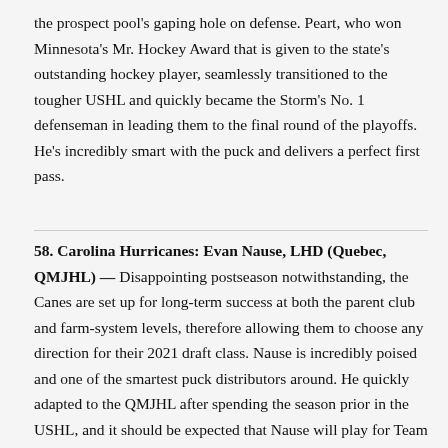the prospect pool's gaping hole on defense. Peart, who won Minnesota's Mr. Hockey Award that is given to the state's outstanding hockey player, seamlessly transitioned to the tougher USHL and quickly became the Storm's No. 1 defenseman in leading them to the final round of the playoffs. He's incredibly smart with the puck and delivers a perfect first pass.
58. Carolina Hurricanes: Evan Nause, LHD (Quebec, QMJHL) — Disappointing postseason notwithstanding, the Canes are set up for long-term success at both the parent club and farm-system levels, therefore allowing them to choose any direction for their 2021 draft class. Nause is incredibly poised and one of the smartest puck distributors around. He quickly adapted to the QMJHL after spending the season prior in the USHL, and it should be expected that Nause will play for Team Canada in at the return of the next season, he 20 old...